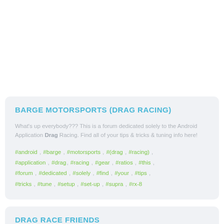BARGE MOTORSPORTS (DRAG RACING)
What's up everybody??? This is a forum dedicated solely to the Android Application Drag Racing. Find all of your tips & tricks & tuning info here!
#android , #barge , #motorsports , #(drag , #racing) , #application , #drag, #racing , #gear , #ratios , #this , #forum , #dedicated , #solely , #find , #your , #tips , #tricks , #tune , #setup , #set-up , #supra , #rx-8
DRAG RACE FRIENDS